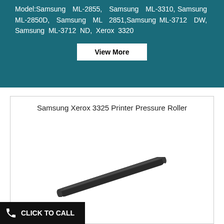Model:Samsung ML-2855, Samsung ML-3310, Samsung ML-2850D, Samsung ML 2851,Samsung ML-3712 DW, Samsung ML-3712 ND, Xerox 3320
View More
Samsung Xerox 3325 Printer Pressure Roller
[Figure (photo): A printer pressure roller — a long narrow cylindrical black rubber roller component, shown diagonally against a white background.]
CLICK TO CALL